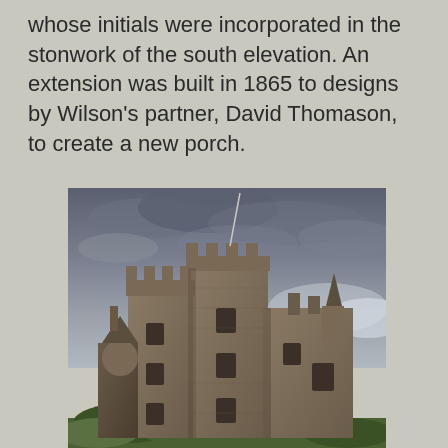whose initials were incorporated in the stonwork of the south elevation. An extension was built in 1865 to designs by Wilson's partner, David Thomason, to create a new porch.
[Figure (photo): Photograph of a Scottish baronial style castle or grand house, showing stone towers with battlements, a tall flagpole or lightning rod, turrets, chimneys, and various Gothic architectural details. Dark cloudy sky in background with some greenery visible at the bottom.]